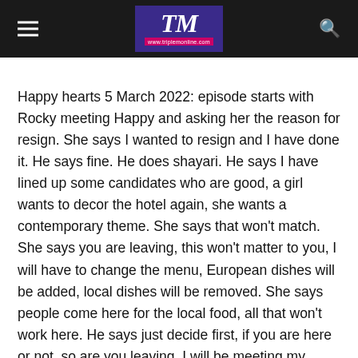TM www.triplemonline.com
Happy hearts 5 March 2022: episode starts with Rocky meeting Happy and asking her the reason for resign. She says I wanted to resign and I have done it. He says fine. He does shayari. He says I have lined up some candidates who are good, a girl wants to decor the hotel again, she wants a contemporary theme. She says that won't match. She says you are leaving, this won't matter to you, I will have to change the menu, European dishes will be added, local dishes will be removed. She says people come here for the local food, all that won't work here. He says just decide first, if you are here or not, so are you leaving, I will be meeting my delegates today, I want a grand welcome, you can't leave this hotel without complete a one month work period as per your contract. Happy says one last day and one last party.